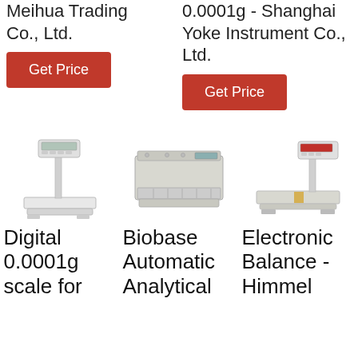Meihua Trading Co., Ltd.
0.0001g - Shanghai Yoke Instrument Co., Ltd.
Get Price
Get Price
[Figure (photo): Digital platform scale with tall pole and display unit]
[Figure (photo): Biobase automatic analytical balance with drawer]
[Figure (photo): Electronic balance with display pole and platform]
Digital 0.0001g scale for
Biobase Automatic Analytical
Electronic Balance - Himmel